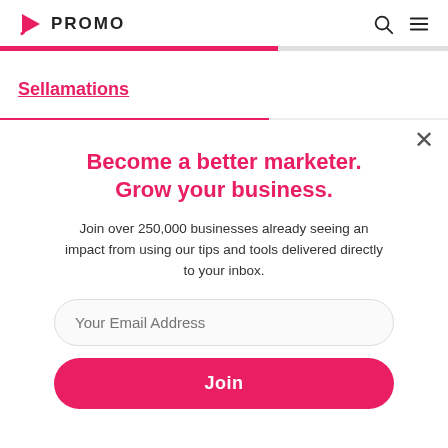PROMO
Sellamations
Become a better marketer. Grow your business.
Join over 250,000 businesses already seeing an impact from using our tips and tools delivered directly to your inbox.
Your Email Address
Join